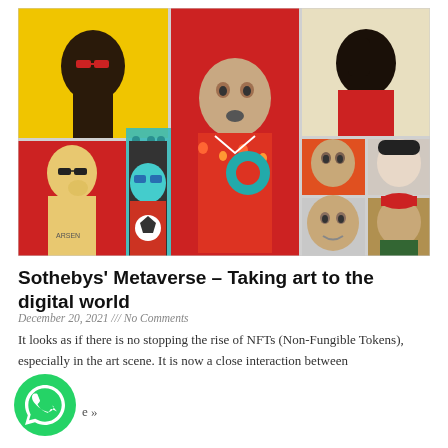[Figure (illustration): Collage of illustrated NFT-style portrait avatars of diverse people, arranged in a grid with colorful backgrounds (yellow, red, teal dotted pattern). Figures include people wearing glasses, hats, and various clothing styles.]
Sothebys’ Metaverse – Taking art to the digital world
December 20, 2021 /// No Comments
It looks as if there is no stopping the rise of NFTs (Non-Fungible Tokens), especially in the art scene. It is now a close interaction between
[Figure (logo): WhatsApp icon button (green circle with white phone handset SVG icon)]